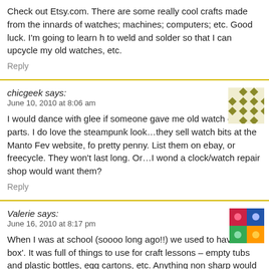Check out Etsy.com. There are some really cool crafts made from the innards of watches; machines; computers; etc. Good luck. I'm going to learn how to weld and solder so that I can upcycle my old watches, etc.
Reply
chicgeek says:
June 10, 2010 at 8:06 am
I would dance with glee if someone gave me old watch or clock parts. I do love the steampunk look…they sell watch bits at the Manto Fev website, for a pretty penny. List them on ebay, or freecycle. They won't last long. Or…I wonder if a clock/watch repair shop would want them?
Reply
Valerie says:
June 16, 2010 at 8:17 pm
When I was at school (soooo long ago!!) we used to have a ‘bit box’. It was full of things to use for craft lessons – empty tubs and plastic bottles, egg cartons, etc. Anything non sharp would be ideal for a young child to use when messing around with glue and paint.
Otherwise Freecycle’s great. However unlikely it is, someone always wants it.